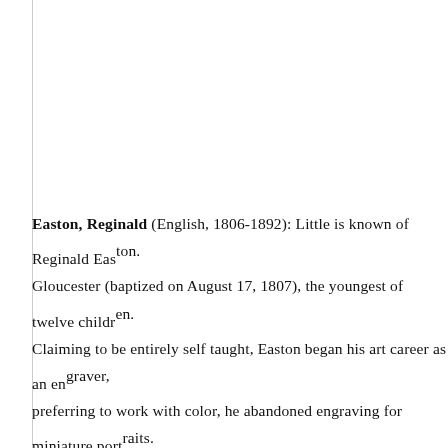Easton, Reginald (English, 1806-1892): Little is known of Reginald Easton. Gloucester (baptized on August 17, 1807), the youngest of twelve children. Claiming to be entirely self taught, Easton began his art career as an engraver, preferring to work with color, he abandoned engraving for miniature portraits. The great skill with which he depicted his subjects. His overall draftsmanship, and backgrounds, and the soft, glowing skin tones he imparted upon his and elite of Victorian London. A sign of great success as an artist of his day, Family. Amongst his royal sitters were King William IV (1765-1837, uncle), 1925, later Queen Alexandra, wife of King Edward VII), Prince George of, Princess Louise of Wales (1867-1931, granddaughter of Queen Victoria), Queen Victoria), Princess Elizabeth of Hesse and by Rhine (1864-1918), (1866-1953, granddaughter of Queen Victoria), Prince Christian Victor of, Albert of Schleswig-Holstein (1869-1931, grandson of Queen Victoria). He achieved much financial success during his career. William Powell Frith mentioned Easton's death in 1892, when he spoke of having encouraged Easton for